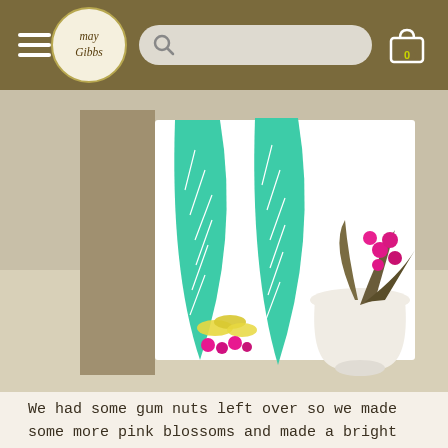May Gibbs — navigation bar with hamburger menu, logo, search bar, cart
[Figure (photo): A handmade greeting card standing upright, decorated with large teal green leaf cutouts with white vein patterns and small yellow and hot-pink gum nut blossoms at the base. Behind it sits a white ceramic vase containing pink flowers and dark leaves, on a white surface.]
We had some gum nuts left over so we made some more pink blossoms and made a bright and lasting posy to go with mums